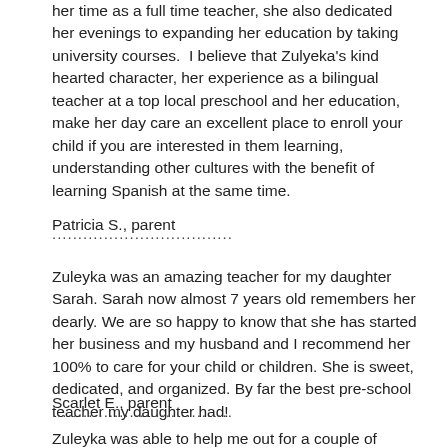her time as a full time teacher, she also dedicated her evenings to expanding her education by taking university courses.  I believe that Zulyeka's kind hearted character, her experience as a bilingual teacher at a top local preschool and her education, make her day care an excellent place to enroll your child if you are interested in them learning, understanding other cultures with the benefit of learning Spanish at the same time.
Patricia S., parent
...................................
Zuleyka was an amazing teacher for my daughter Sarah. Sarah now almost 7 years old remembers her dearly. We are so happy to know that she has started her business and my husband and I recommend her 100% to care for your child or children. She is sweet, dedicated, and organized. By far the best pre-school teacher my daughter had!
Scarlet E., parent
...................................
Zuleyka was able to help me out for a couple of